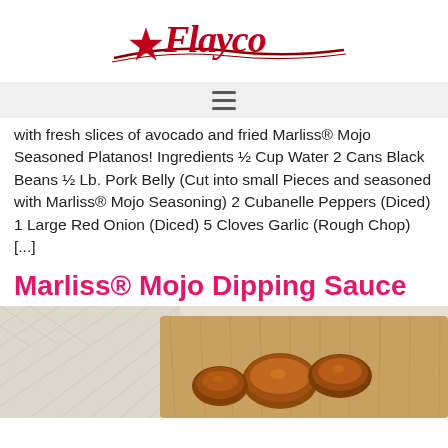[Figure (logo): Flayco brand logo with red star and cursive script text on a swoosh underline]
[Figure (other): Hamburger menu icon (three horizontal lines)]
with fresh slices of avocado and fried Marliss® Mojo Seasoned Platanos! Ingredients ½ Cup Water 2 Cans Black Beans ½ Lb. Pork Belly (Cut into small Pieces and seasoned with Marliss® Mojo Seasoning) 2 Cubanelle Peppers (Diced) 1 Large Red Onion (Diced) 5 Cloves Garlic (Rough Chop) [...]
Marliss® Mojo Dipping Sauce
[Figure (photo): Photo of cooked meat (fried pork pieces) on a wooden board with a patterned white surface in background]